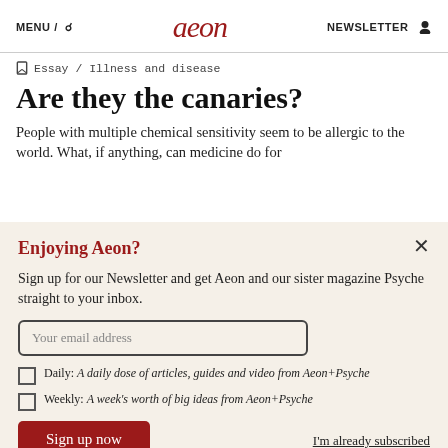MENU / 🔍   aeon   NEWSLETTER 👤
Essay / Illness and disease
Are they the canaries?
People with multiple chemical sensitivity seem to be allergic to the world. What, if anything, can medicine do for
Enjoying Aeon?
Sign up for our Newsletter and get Aeon and our sister magazine Psyche straight to your inbox.
Your email address
Daily: A daily dose of articles, guides and video from Aeon+Psyche
Weekly: A week's worth of big ideas from Aeon+Psyche
Sign up now
I'm already subscribed
Privacy policy